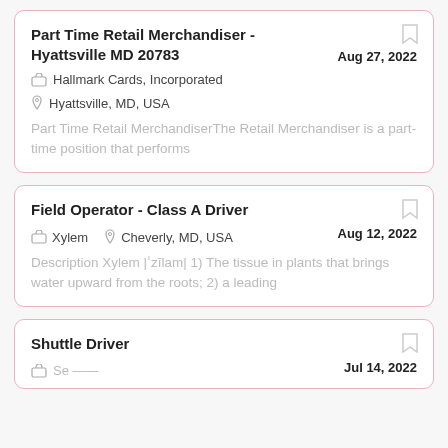Part Time Retail Merchandiser - Hyattsville MD 20783 | Aug 27, 2022 | Hallmark Cards, Incorporated | Hyattsville, MD, USA | Part Time Retail MerchandiserThe Retail Merchandiser is a part-time position that performs
Field Operator - Class A Driver | Xylem | Cheverly, MD, USA | Aug 12, 2022 | Description Xylem |'zīlam| 1) The tissue in plants that brings water upward from the roots; 2) a leading
Shuttle Driver | Jul 14, 2022